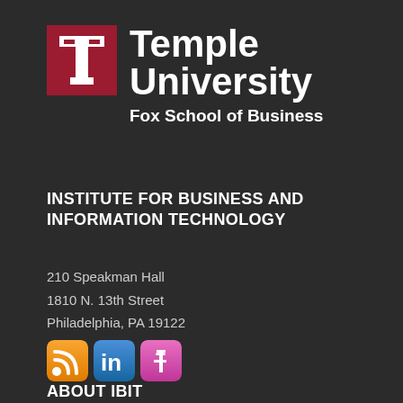[Figure (logo): Temple University Fox School of Business logo — red square with white T letterform on left, 'Temple University' in large bold white text, 'Fox School of Business' in medium bold white text below]
INSTITUTE FOR BUSINESS AND INFORMATION TECHNOLOGY
210 Speakman Hall
1810 N. 13th Street
Philadelphia, PA 19122
[Figure (infographic): Three social media icon buttons: RSS feed (orange), LinkedIn (blue), Facebook (pink/magenta)]
ABOUT IBIT